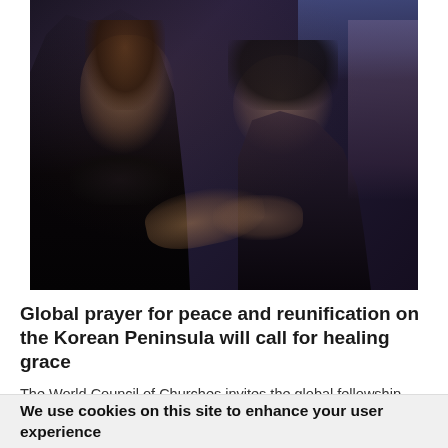[Figure (photo): Photograph of people praying outdoors, with a woman in the foreground with her mouth open and hands raised, and an older woman beside her, set against a dark urban background.]
Global prayer for peace and reunification on the Korean Peninsula will call for healing grace
The World Council of Churches invites the global fellowship and all people of good will to join, on 15 August, a prayer for peace and reconciliation on the Korean Peninsula.
We use cookies on this site to enhance your user experience